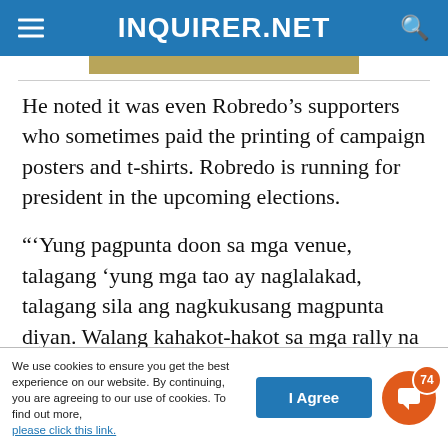INQUIRER.NET
He noted it was even Robredo’s supporters who sometimes paid the printing of campaign posters and t-shirts. Robredo is running for president in the upcoming elections.
“‘Yung pagpunta doon sa mga venue, talagang ‘yung mga tao ay naglalakad, talagang sila ang nagkukusang magpunta diyan. Walang kahakot-hakot sa mga rally na ito,” Gutierrez said.
We use cookies to ensure you get the best experience on our website. By continuing, you are agreeing to our use of cookies. To find out more, please click this link.